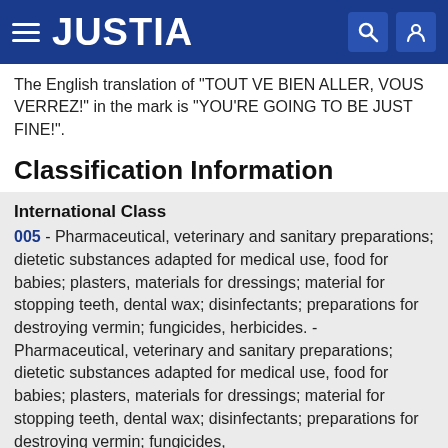JUSTIA
The English translation of "TOUT VE BIEN ALLER, VOUS VERREZ!" in the mark is "YOU'RE GOING TO BE JUST FINE!".
Classification Information
International Class
005 - Pharmaceutical, veterinary and sanitary preparations; dietetic substances adapted for medical use, food for babies; plasters, materials for dressings; material for stopping teeth, dental wax; disinfectants; preparations for destroying vermin; fungicides, herbicides. - Pharmaceutical, veterinary and sanitary preparations; dietetic substances adapted for medical use, food for babies; plasters, materials for dressings; material for stopping teeth, dental wax; disinfectants; preparations for destroying vermin; fungicides,